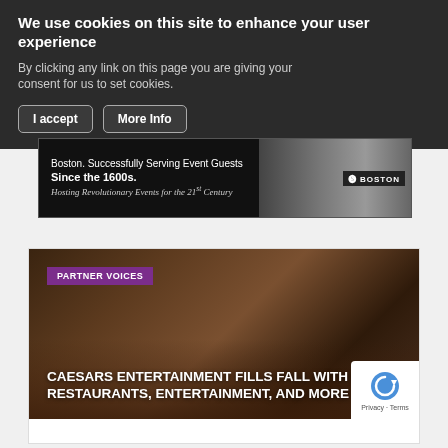We use cookies on this site to enhance your user experience
By clicking any link on this page you are giving your consent for us to set cookies.
[Figure (screenshot): Cookie consent banner with I accept and More Info buttons on dark background]
[Figure (infographic): Advertisement banner: Boston. Successfully Serving Event Guests Since the 1600s. Hosting Revolutionary Events for the 21st Century. Featuring event crowd photos and Signature Boston logo.]
[Figure (photo): Article card with dark food/event photo background. Shows PARTNER VOICES badge in purple and headline: CAESARS ENTERTAINMENT FILLS FALL WITH NEW RESTAURANTS, ENTERTAINMENT, AND MORE. reCAPTCHA badge visible bottom right.]
PARTNER VOICES
CAESARS ENTERTAINMENT FILLS FALL WITH NEW RESTAURANTS, ENTERTAINMENT, AND MORE
Privacy · Terms